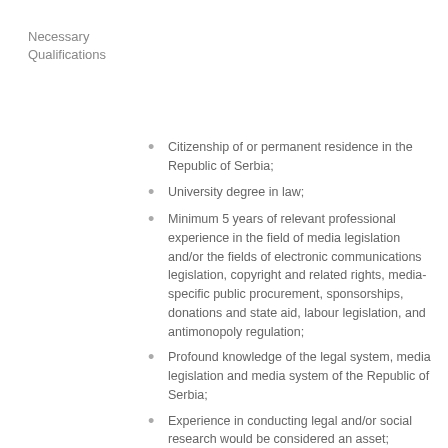Necessary Qualifications
Citizenship of or permanent residence in the Republic of Serbia;
University degree in law;
Minimum 5 years of relevant professional experience in the field of media legislation and/or the fields of electronic communications legislation, copyright and related rights, media-specific public procurement, sponsorships, donations and state aid, labour legislation, and antimonopoly regulation;
Profound knowledge of the legal system, media legislation and media system of the Republic of Serbia;
Experience in conducting legal and/or social research would be considered an asset;
Knowledge of international media and